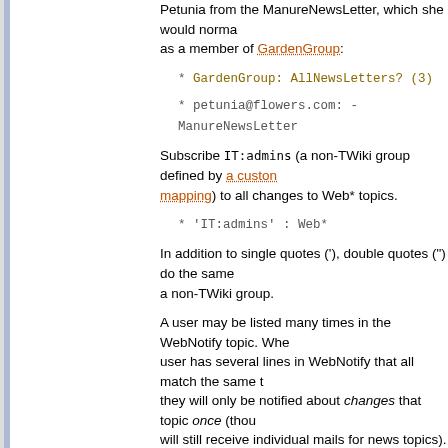Petunia from the ManureNewsLetter, which she would normally receive as a member of GardenGroup:
* GardenGroup: AllNewsLetters? (3)
* petunia@flowers.com: - ManureNewsLetter
Subscribe IT:admins (a non-TWiki group defined by a custom mapping) to all changes to Web* topics.
* 'IT:admins' : Web*
In addition to single quotes ('), double quotes (") do the same a non-TWiki group.
A user may be listed many times in the WebNotify topic. Whe user has several lines in WebNotify that all match the same t they will only be notified about changes that topic once (thou will still receive individual mails for news topics).
If a group is listed for notification, the group will be recursivel expanded to the e-mail addresses of all members.
Warning: Because an email address is not linked to a us there is no way for TWiki to check access controls for subscr identified by email addresses. A subscriber identified by an e